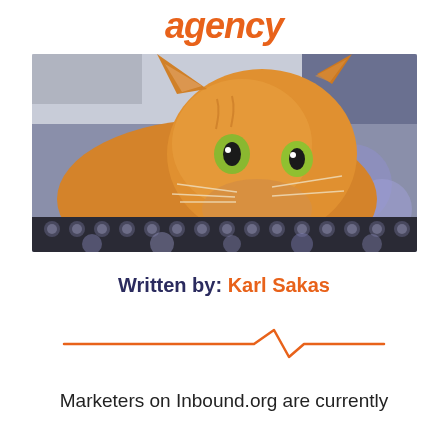agency
[Figure (photo): A close-up photo of an orange tabby cat resting its chin on a computer keyboard, looking up at the camera with wide eyes. The background is blurred with purple bokeh lights.]
Written by: Karl Sakas
[Figure (illustration): An orange zigzag/lightning bolt decorative divider line]
Marketers on Inbound.org are currently